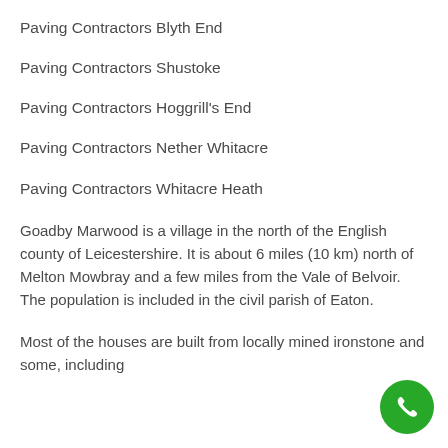Paving Contractors Blyth End
Paving Contractors Shustoke
Paving Contractors Hoggrill's End
Paving Contractors Nether Whitacre
Paving Contractors Whitacre Heath
Goadby Marwood is a village in the north of the English county of Leicestershire. It is about 6 miles (10 km) north of Melton Mowbray and a few miles from the Vale of Belvoir. The population is included in the civil parish of Eaton.
Most of the houses are built from locally mined ironstone and some, including